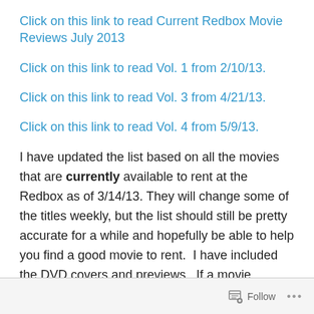Click on this link to read Current Redbox Movie Reviews July 2013
Click on this link to read Vol. 1 from 2/10/13.
Click on this link to read Vol. 3 from 4/21/13.
Click on this link to read Vol. 4 from 5/9/13.
I have updated the list based on all the movies that are currently available to rent at the Redbox as of 3/14/13. They will change some of the titles weekly, but the list should still be pretty accurate for a while and hopefully be able to help you find a good movie to rent. I have included the DVD covers and previews. If a movie doesn't have a cover or preview above it, simply click on the title for my
Follow ...